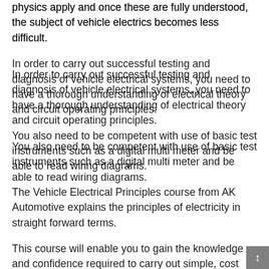physics apply and once these are fully understood, the subject of vehicle electrics becomes less difficult.
In order to carry out successful testing and diagnosis of vehicle electrical systems, you need to have a thorough understanding of electrical theory and circuit operating principles.
You also need to be competent with use of basic test instruments such as a digital multi meter and be able to read wiring diagrams.
The Vehicle Electrical Principles course from AK Automotive explains the principles of electricity in straight forward terms.
This course will enable you to gain the knowledge and confidence required to carry out simple, cost effective tests on motor vehicle electrical systems.
What the course covers: Learn